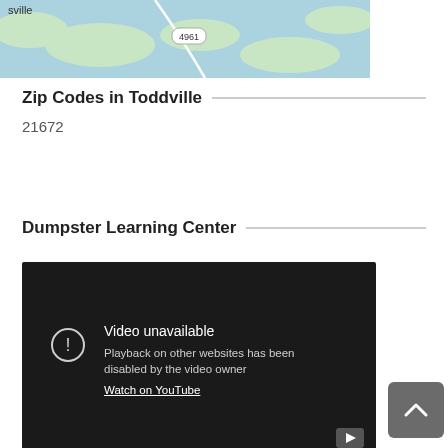[Figure (map): Google Maps aerial/road map showing water and land areas near Toddville, with route marker 4961]
Zip Codes in Toddville
21672
Dumpster Learning Center
[Figure (screenshot): Embedded YouTube video player showing 'Video unavailable - Playback on other websites has been disabled by the video owner. Watch on YouTube']